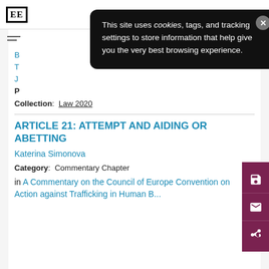EE [logo]
[Figure (screenshot): Cookie consent popup overlay with black background: 'This site uses cookies, tags, and tracking settings to store information that help give you the very best browsing experience.' with X close button]
Collection: Law 2020
ARTICLE 21: ATTEMPT AND AIDING OR ABETTING
Katerina Simonova
Category: Commentary Chapter
in A Commentary on the Council of Europe Convention on Action against Trafficking in Human B...